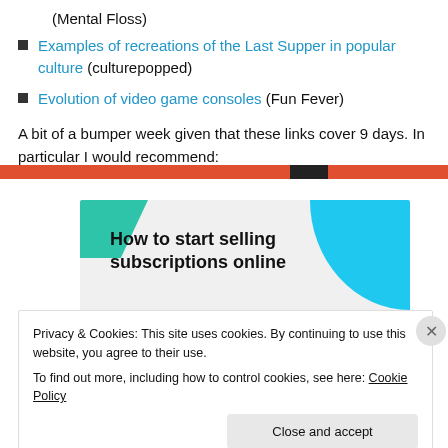(Mental Floss)
Examples of recreations of the Last Supper in popular culture (culturepopped)
Evolution of video game consoles (Fun Fever)
A bit of a bumper week given that these links cover 9 days. In particular I would recommend:
[Figure (illustration): Banner graphic with teal and blue shapes on grey background reading 'How to start selling subscriptions online']
Privacy & Cookies: This site uses cookies. By continuing to use this website, you agree to their use.
To find out more, including how to control cookies, see here: Cookie Policy